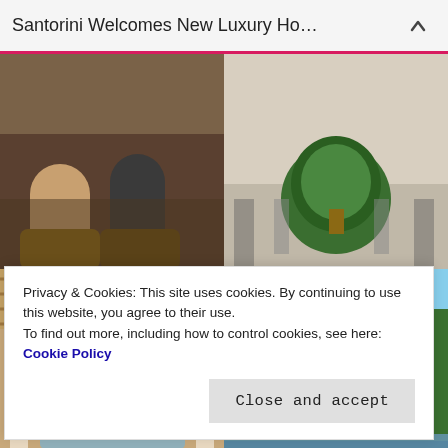Santorini Welcomes New Luxury Ho…
[Figure (photo): Two people sitting on barrels, casual setting]
[Figure (photo): Shopping area with Christmas tree and people walking]
[Figure (photo): Restaurant interior with large olive tree, warm lighting]
[Figure (photo): Grand building exterior with pond and willow trees]
[Figure (photo): Partial view — garden/exterior]
[Figure (photo): Partial view — food/plate]
Privacy & Cookies: This site uses cookies. By continuing to use this website, you agree to their use.
To find out more, including how to control cookies, see here: Cookie Policy
Close and accept